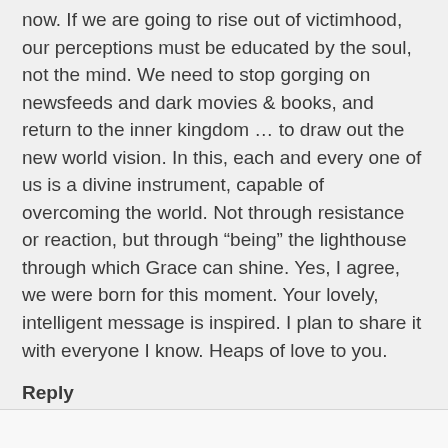now. If we are going to rise out of victimhood, our perceptions must be educated by the soul, not the mind. We need to stop gorging on newsfeeds and dark movies & books, and return to the inner kingdom … to draw out the new world vision. In this, each and every one of us is a divine instrument, capable of overcoming the world. Not through resistance or reaction, but through “being” the lighthouse through which Grace can shine. Yes, I agree, we were born for this moment. Your lovely, intelligent message is inspired. I plan to share it with everyone I know. Heaps of love to you.
Reply